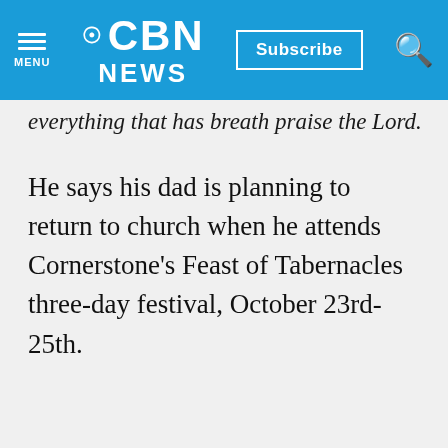CBN NEWS — MENU | Subscribe | Search
everything that has breath praise the Lord.
He says his dad is planning to return to church when he attends Cornerstone's Feast of Tabernacles three-day festival, October 23rd-25th.